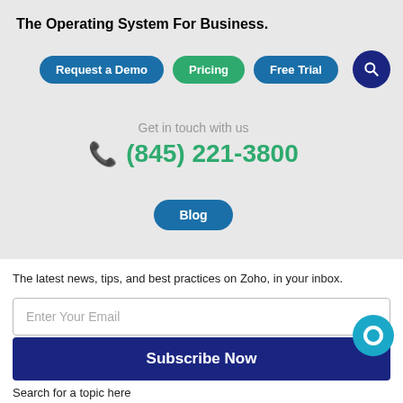The Operating System For Business.
[Figure (other): Three navigation buttons: 'Request a Demo' (blue), 'Pricing' (green), 'Free Trial' (blue), displayed as pill-shaped buttons]
[Figure (other): Dark blue circular search icon button in top right]
Get in touch with us
(845) 221-3800
[Figure (other): Blog pill-shaped blue button]
The latest news, tips, and best practices on Zoho, in your inbox.
Enter Your Email
Subscribe Now
Search for a topic here